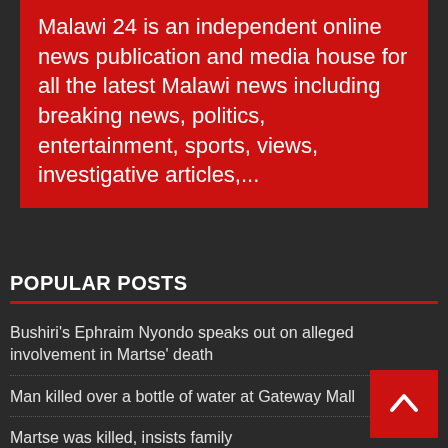Malawi 24 is an independent online news publication and media house for all the latest Malawi news including breaking news, politics, entertainment, sports, views, investigative articles,...
POPULAR POSTS
Bushiri's Ephraim Nyondo speaks out on alleged involvement in Martse' death
Man killed over a bottle of water at Gateway Mall
Martse was killed, insists family
We did not sacrifice Martse: Bushiri's brother-in-law promises to clear his name
Zikatere it's a nono: langwani Piksy fails Anana video test
Goshen city attracting tourists before completion
US pastor robbed of jewellery worth US$1 million while